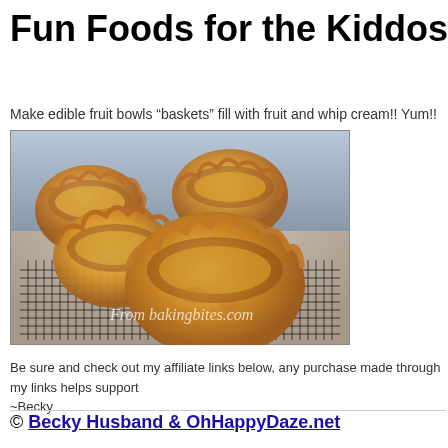Fun Foods for the Kiddos Sabbath
Make edible fruit bowls “baskets” fill with fruit and whip cream!! Yum!!
[Figure (photo): Golden baked pastry cups/bowls sitting on a wire cooling rack on a granite countertop. The cups have fluted edges and golden-brown coloring. A watermark reads 'From bakingbites.com'.]
Be sure and check out my affiliate links below, any purchase made through my links helps support
~Becky
© Becky Husband & OhHappyDaze.net